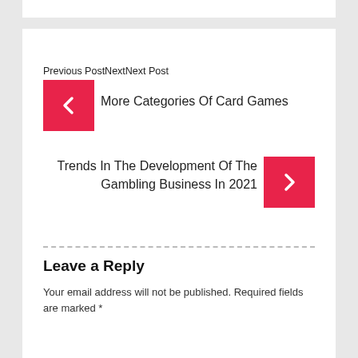Previous PostNextNext Post
More Categories Of Card Games
Trends In The Development Of The Gambling Business In 2021
Leave a Reply
Your email address will not be published. Required fields are marked *